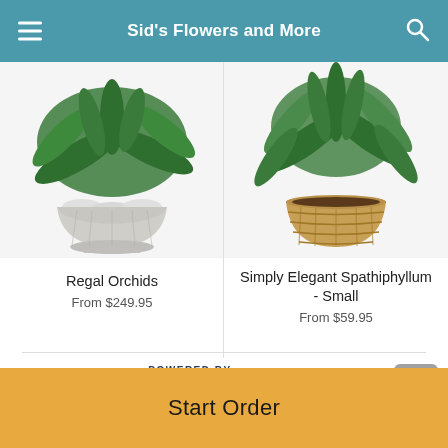Sid's Flowers and More
[Figure (photo): Regal Orchids plant in a white decorative ceramic bowl with white stones]
Regal Orchids
From $249.95
[Figure (photo): Simply Elegant Spathiphyllum Small plant in a woven basket]
Simply Elegant Spathiphyllum - Small
From $59.95
[Figure (logo): POWERED BY lovingly logo with pink/red heart icon]
Start Order